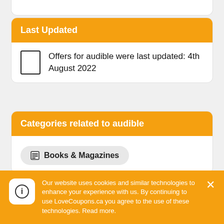Last Updated
Offers for audible were last updated: 4th August 2022
Categories related to audible
Books & Magazines
Similar to audible
Our website uses cookies and similar technologies to enhance your experience with us. By continuing to use LoveCoupons.ca you agree to the use of these technologies. Read more.